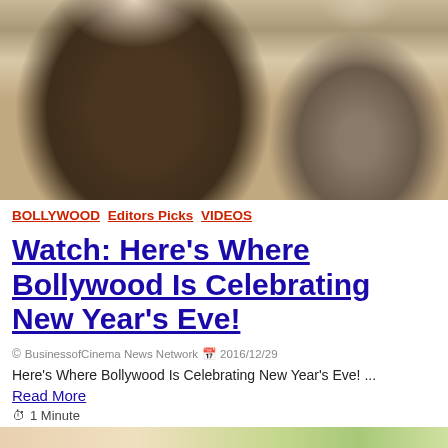[Figure (photo): Photo of two people smiling — a woman with long wavy brown hair wearing a black embroidered outfit, and a man in a grey blazer over white shirt, posed together]
BOLLYWOOD Editors Picks VIDEOS
Watch: Here's Where Bollywood Is Celebrating New Year's Eve!
© BusinessofCinema News Network 📅 2016/12/29
Here's Where Bollywood Is Celebrating New Year's Eve! ...
Read More
⏱ 1 Minute
[Figure (photo): Partial photo visible at bottom of page showing colorful floral/festive scene]